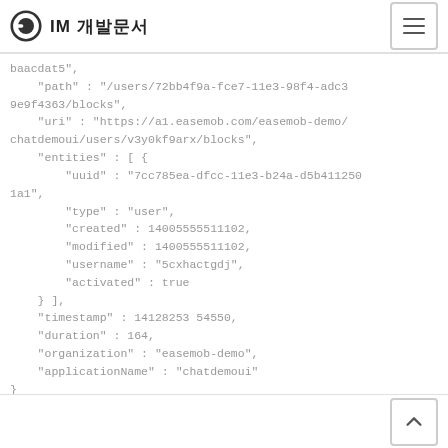IM 개발문서
baacdat5",
    "path" : "/users/72bb4f9a-fce7-11e3-98f4-adc3
9e9f4363/blocks",
  "uri" : "https://a1.easemob.com/easemob-demo/
chatdemoui/users/v3y0kf9arx/blocks",
    "entities" : [ {
        "uuid" : "7cc785ea-dfcc-11e3-b24a-d5b411250
1a1",
        "type" : "user",
        "created" : 14005555511102,
        "modified" : 1400555511102,
        "username" : "5cxhactgdj",
        "activated" : true
    } ],
    "timestamp" : 14128253 54550,
    "duration" : 164,
    "organization" : "easemob-demo",
    "applicationName" : "chatdemoui"
}
▲